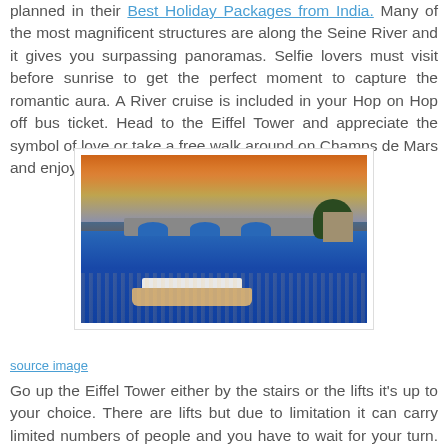planned in their Best Holiday Packages from India. Many of the most magnificent structures are along the Seine River and it gives you surpassing panoramas. Selfie lovers must visit before sunrise to get the perfect moment to capture the romantic aura. A River cruise is included in your Hop on Hop off bus ticket. Head to the Eiffel Tower and appreciate the symbol of love or take a free walk around on Champs de Mars and enjoy the Trocadero area.
[Figure (photo): A river cruise boat sailing on the Seine River in Paris at dusk/sunset. A stone bridge with arches is visible in the background, trees and buildings on the right bank. The sky shows warm orange and pink sunset colors reflecting on the water.]
source image
Go up the Eiffel Tower either by the stairs or the lifts it's up to your choice. There are lifts but due to limitation it can carry limited numbers of people and you have to wait for your turn. Toward the evening, head to the creepy Mausoloums and